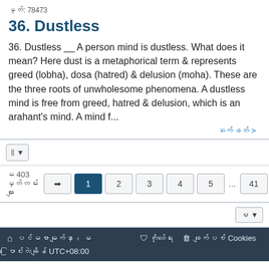မှတ်: 78473
36. Dustless
36. Dustless __ A person mind is dustless. What does it mean? Here dust is a metaphorical term & represents greed (lobha), dosa (hatred) & delusion (moha). These are the three roots of unwholesome phenomena. A dustless mind is free from greed, hatred & delusion, which is an arahant's mind. A mind f...
ဆက်ဖတ် >
မ 403 မှတ်တမ်းများ
1 2 3 4 5 ... 41 >
🏠 ပင်မစာမျက်နှာ ‹ မ  ကိုယ်ရေး ဖျက်ပစ် Cookies ပြောင်းလဲချိန် UTC+08:00
Powered by phpBB® Forum Software © phpBB Limited | SE Square Left by PhpBB3 BBCodes
မြန်မာဘာသာ မျက်နှာ မိတ်ဆက်